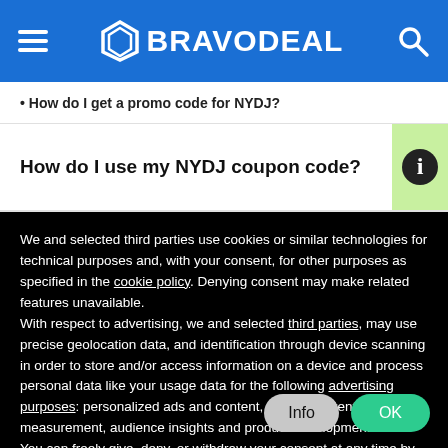BRAVODEAL
• How do I get a promo code for NYDJ?
How do I use my NYDJ coupon code?
We and selected third parties use cookies or similar technologies for technical purposes and, with your consent, for other purposes as specified in the cookie policy. Denying consent may make related features unavailable.
With respect to advertising, we and selected third parties, may use precise geolocation data, and identification through device scanning in order to store and/or access information on a device and process personal data like your usage data for the following advertising purposes: personalized ads and content, ad and content measurement, audience insights and product development.
You can freely give, deny, or withdraw your consent at any time by accessing the preferences panel.
You can consent to the use of such technologies by using the “OK” button or by continuing to browse otherwise.